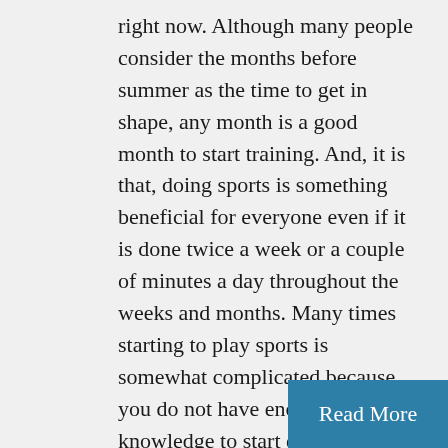right now. Although many people consider the months before summer as the time to get in shape, any month is a good month to start training. And, it is that, doing sports is something beneficial for everyone even if it is done twice a week or a couple of minutes a day throughout the weeks and months. Many times starting to play sports is somewhat complicated because you do not have enough knowledge to start exercising. We have decided to put an end to this and that is why we have got down to work: we have compiled 7 applications for Android phones that will help you start exercising.These applications are very different from each other an...
Read More